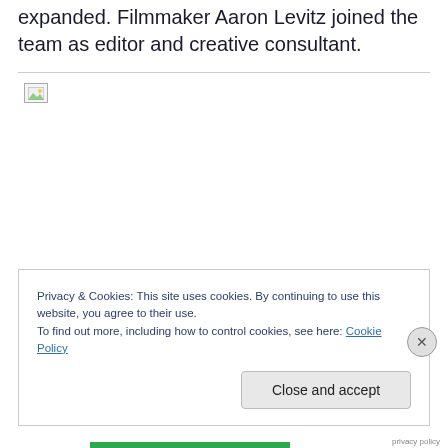expanded. Filmmaker Aaron Levitz joined the team as editor and creative consultant.
[Figure (photo): Image placeholder with broken image icon, bordered by a horizontal line at the top]
Privacy & Cookies: This site uses cookies. By continuing to use this website, you agree to their use. To find out more, including how to control cookies, see here: Cookie Policy
Close and accept